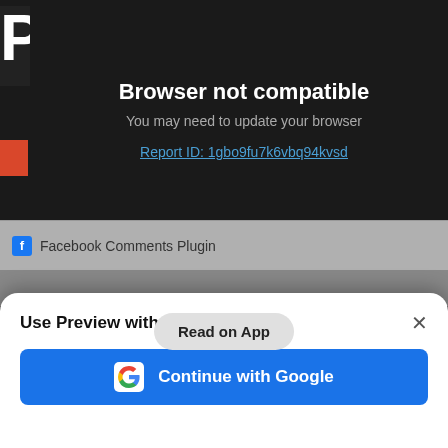Browser not compatible
You may need to update your browser
Report ID: 1gbo9fu7k6vbq94kvsd
Facebook Comments Plugin
Browser not compatible
You may need to update your browser
Read on App
Use Preview with Google
Continue with Google